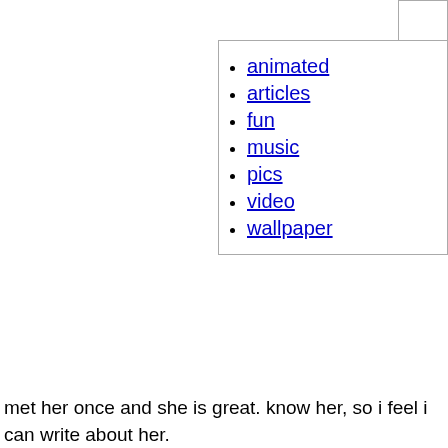animated
articles
fun
music
pics
video
wallpaper
met her once and she is great. know her, so i feel i can write about her.
Tuesday, 16. December 2003
Avril Lavigne, Nicky Hilton and Tom Green
lavrivie 05:20h
Seems as if Avril is living the Hollywood life.
... Link
hey everybody.
lavrivie 05:16h